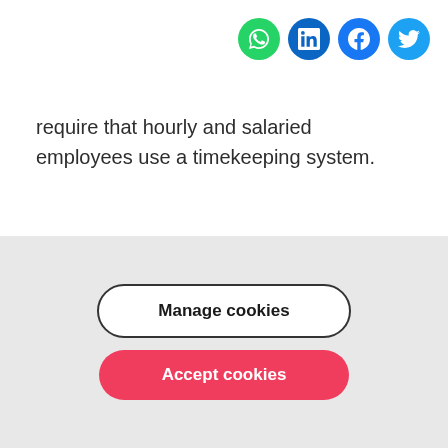[Figure (other): Social sharing icons for WhatsApp, LinkedIn, Facebook, and Twitter arranged horizontally in the top-right corner]
require that hourly and salaried employees use a timekeeping system.
Considerations
Before implementing time and attendance policies,
FACTORIAL uses cookies to personalise content and
Manage cookies
Accept cookies